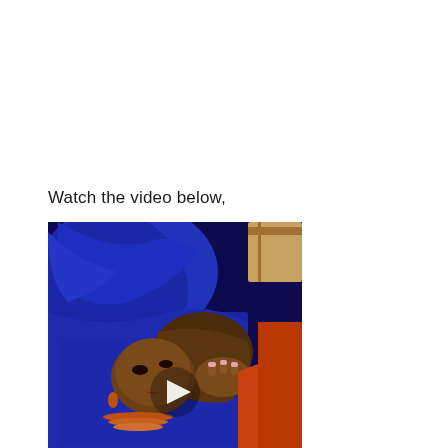Watch the video below,
[Figure (photo): A woman dressed in royal blue traditional Nigerian attire (gele headwrap and lace fabric) with coral bead jewelry, bending forward as if bowing, at what appears to be a traditional ceremony. A play button overlay is visible in the center of the image.]